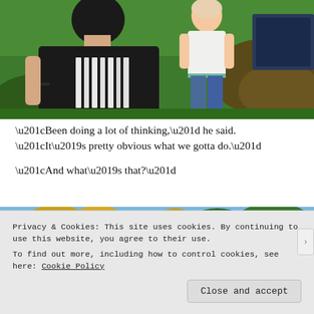[Figure (screenshot): Screenshot from The Sims 4 game showing two characters outdoors. In the foreground is the back of a male character with black hair wearing a black t-shirt with white vertical stripes. In the background is a female character in a white top and blue jeans, standing on green grass with trees/bushes behind her.]
“Been doing a lot of thinking,” he said. “It’s pretty obvious what we gotta do.”
“And what’s that?”
[Figure (screenshot): Partial screenshot from The Sims 4 game showing trees with yellow/autumn foliage against a blue sky, partially obscured by the cookie consent banner.]
Privacy & Cookies: This site uses cookies. By continuing to use this website, you agree to their use.
To find out more, including how to control cookies, see here: Cookie Policy
Close and accept